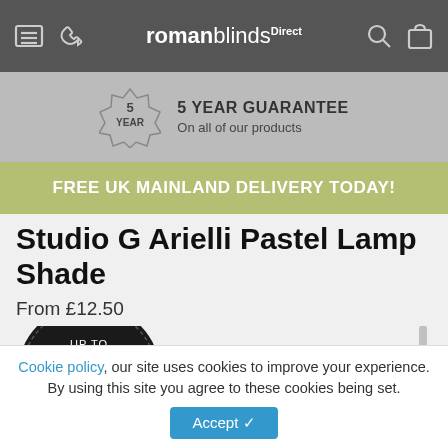roman blinds Direct — navigation bar with menu, phone, search, and cart icons
5 YEAR GUARANTEE — On all of our products
FREE UK MAINLAND DELIVERY TODAY!
Studio G Arielli Pastel Lamp Shade
From £12.50
[Figure (infographic): Circular badge with text: UP TO 70% OFF HIGH STREET PRICES on dark background]
[Figure (photo): Partial view of a lamp shade pole/stand in grey]
Cookie policy, our site uses cookies to improve your experience. By using this site you agree to these cookies being set.
Accept ✓